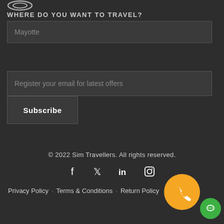[Figure (logo): Sim Travellers logo (wave/sim card icon)]
WHERE DO YOU WANT TO TRAVEL?
Mayotte (input field placeholder)
Register your email for latest offers (input field placeholder)
Subscribe (button)
© 2022 Sim Travellers. All rights reserved.
[Figure (infographic): Social media icons: Facebook, Twitter, LinkedIn, Instagram]
Privacy Policy · Terms & Conditions · Return Policy
[Figure (infographic): Orange circular call button with phone icon, green circular chat button]